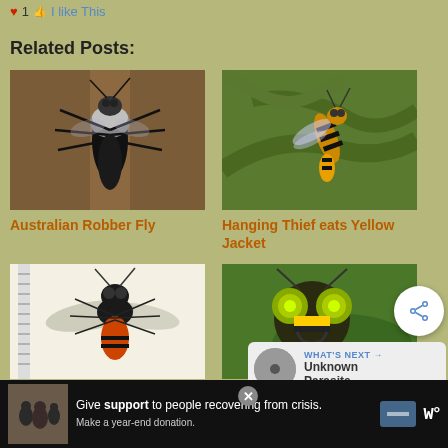♥ 1 👍 I like This
Related Posts:
[Figure (photo): Close-up photo of an Australian Robber Fly on a wooden surface]
Australian Robber Fly
[Figure (photo): Close-up photo of a Hanging Thief wasp eating a Yellow Jacket]
Hanging Thief eats Yellow Jacket
[Figure (photo): Specimen photo of a robber fly with spread wings showing orange abdomen]
[Figure (photo): Close-up macro photo of an insect face on a green leaf]
WHAT'S NEXT → Unknown Parasite
Give support to people recovering from crisis. Make a year-end donation.